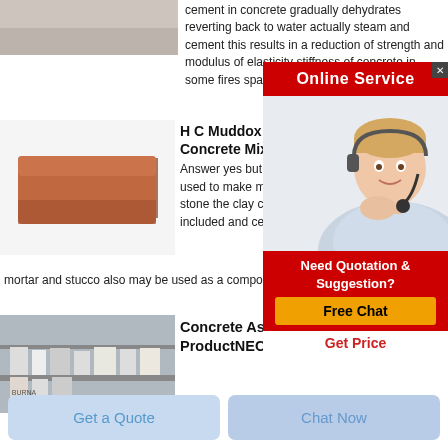[Figure (photo): Gray concrete or material surface, top-left corner]
cement in concrete gradually dehydrates reverting back to water actually steam and cement this results in a reduction of strength and modulus of elasticity stiffness of concrete in some fires spalling of concrete occursfragm
[Figure (photo): Orange/terracotta brick on white background]
H C Muddox 5 Concrete Mix
Answer yes but the used to make morta stone the clay can b included and ceme mortar and stucco also may be used as a component o
[Figure (infographic): Online Service ad overlay with woman wearing headset, red background, Free Chat button, Need Quotation & Suggestion, Get Price]
[Figure (photo): Shelved products, bottom left, building materials store]
Concrete As A Fireproof Building ProductNEC Digest
Get a Quote
Chat Now